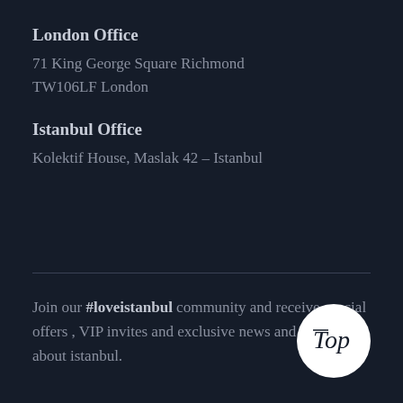London Office
71 King George Square Richmond TW106LF London
Istanbul Office
Kolektif House, Maslak 42 – Istanbul
Join our #loveistanbul community and receive special offers , VIP invites and exclusive news and updates about istanbul.
[Figure (illustration): White circle with cursive 'Top' handwritten text inside]